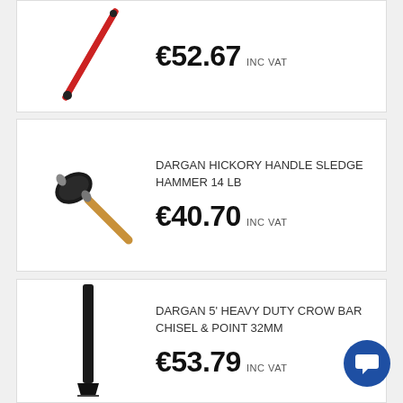[Figure (photo): Red and black handled sledgehammer or pickaxe tool shown diagonally]
€52.67 INC VAT
[Figure (photo): Dargan hickory handle sledge hammer 14 lb with wooden handle and black head]
DARGAN HICKORY HANDLE SLEDGE HAMMER 14 LB
€40.70 INC VAT
[Figure (photo): Dargan 5' heavy duty crow bar chisel and point 32mm, black bar shown vertically]
DARGAN 5' HEAVY DUTY CROW BAR CHISEL & POINT 32MM
€53.79 INC VAT